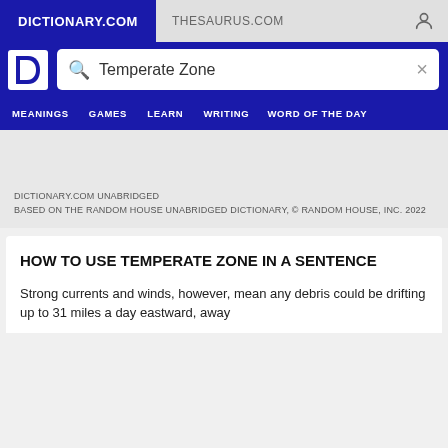DICTIONARY.COM   THESAURUS.COM
[Figure (screenshot): Dictionary.com logo — white letter D on blue background]
Temperate Zone
MEANINGS   GAMES   LEARN   WRITING   WORD OF THE DAY
DICTIONARY.COM UNABRIDGED
BASED ON THE RANDOM HOUSE UNABRIDGED DICTIONARY, © RANDOM HOUSE, INC. 2022
HOW TO USE TEMPERATE ZONE IN A SENTENCE
Strong currents and winds, however, mean any debris could be drifting up to 31 miles a day eastward, away